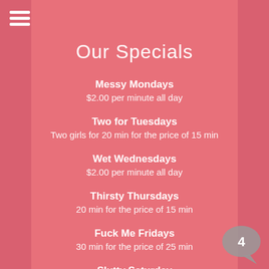Our Specials
Messy Mondays
$2.00 per minute all day
Two for Tuesdays
Two girls for 20 min for the price of 15 min
Wet Wednesdays
$2.00 per minute all day
Thirsty Thursdays
20 min for the price of 15 min
Fuck Me Fridays
30 min for the price of 25 min
Slutty Saturday